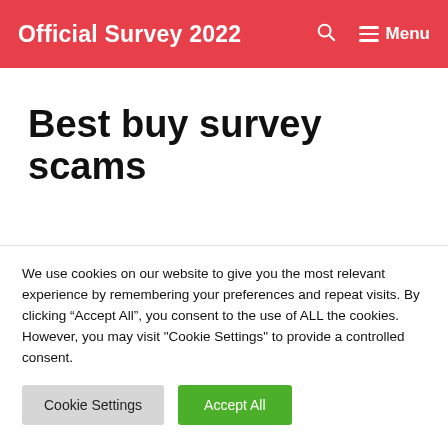Official Survey 2022
Best buy survey scams
We use cookies on our website to give you the most relevant experience by remembering your preferences and repeat visits. By clicking “Accept All”, you consent to the use of ALL the cookies. However, you may visit "Cookie Settings" to provide a controlled consent.